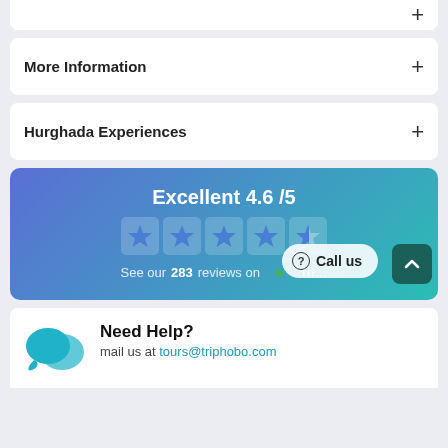+
More Information +
Hurghada Experiences +
[Figure (infographic): Blue-green gradient banner showing Excellent 4.6/5 rating with 4.5 star icons, '283 reviews on Triphobo', a 'Call us' button overlay, and a scroll-to-top arrow button]
Need Help? mail us at tours@triphobo.com